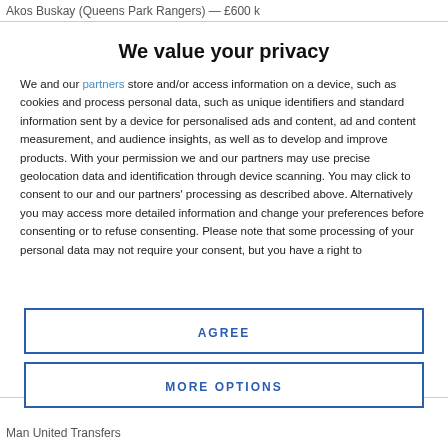Akos Buskay (Queens Park Rangers) — £600 k
We value your privacy
We and our partners store and/or access information on a device, such as cookies and process personal data, such as unique identifiers and standard information sent by a device for personalised ads and content, ad and content measurement, and audience insights, as well as to develop and improve products. With your permission we and our partners may use precise geolocation data and identification through device scanning. You may click to consent to our and our partners' processing as described above. Alternatively you may access more detailed information and change your preferences before consenting or to refuse consenting. Please note that some processing of your personal data may not require your consent, but you have a right to
AGREE
MORE OPTIONS
Man United Transfers